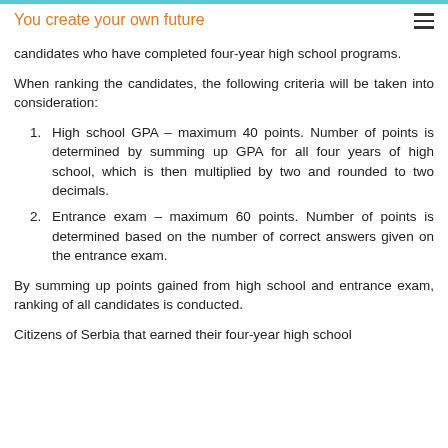You create your own future
candidates who have completed four-year high school programs.
When ranking the candidates, the following criteria will be taken into consideration:
High school GPA – maximum 40 points. Number of points is determined by summing up GPA for all four years of high school, which is then multiplied by two and rounded to two decimals.
Entrance exam – maximum 60 points. Number of points is determined based on the number of correct answers given on the entrance exam.
By summing up points gained from high school and entrance exam, ranking of all candidates is conducted.
Citizens of Serbia that earned their four-year high school